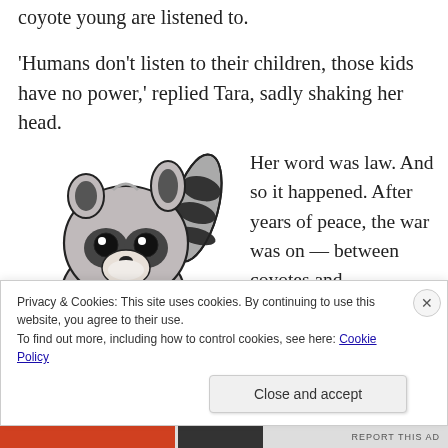coyote young are listened to.
'Humans don't listen to their children, those kids have no power,' replied Tara, sadly shaking her head.
[Figure (illustration): Cartoon illustration of a raccoon character sitting, with a large striped tail curling up behind it. The raccoon has a grey and white body with dark markings around the eyes. Watermark reads 'How-to-draw-cartoons.com']
Her word was law. And so it happened. After years of peace, the war was on — between coyotes and
Privacy & Cookies: This site uses cookies. By continuing to use this website, you agree to their use.
To find out more, including how to control cookies, see here: Cookie Policy
Close and accept